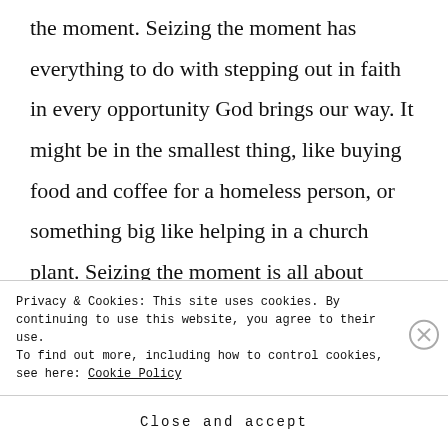the moment. Seizing the moment has everything to do with stepping out in faith in every opportunity God brings our way. It might be in the smallest thing, like buying food and coffee for a homeless person, or something big like helping in a church plant. Seizing the moment is all about having a
Privacy & Cookies: This site uses cookies. By continuing to use this website, you agree to their use.
To find out more, including how to control cookies, see here: Cookie Policy
Close and accept